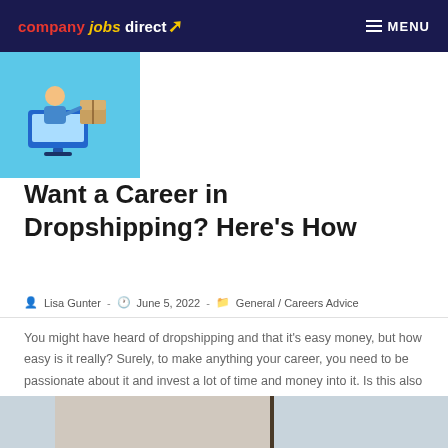company jobs direct — MENU
[Figure (illustration): Cartoon illustration of a person at a laptop with a delivery box, on a light blue background]
Want a Career in Dropshipping? Here's How
Lisa Gunter - June 5, 2022 - General / Careers Advice
You might have heard of dropshipping and that it's easy money, but how easy is it really? Surely, to make anything your career, you need to be passionate about it and invest a lot of time and money into it. Is this also true for dropshipping? Well, it depends. Let's analyze some of the factors that successful dropshippers say are key to achieving financial stability.
[Figure (photo): Photo showing cardboard boxes against a light background]